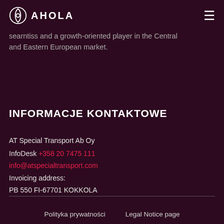AHOLA (logo) — navigation menu icon
...searntiss and a growth-oriented player in the Central and Eastern European market.
INFORMACJE KONTAKTOWE
AT Special Transport Ab Oy
InfoDesk +358 20 7475 111
info@atspecialtransport.com
Invoicing address:
PB 550 FI-67701 KOKKOLA
Polityka prywatności    Legal Notice page